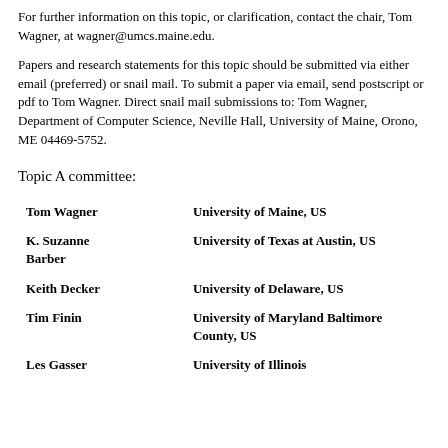For further information on this topic, or clarification, contact the chair, Tom Wagner, at wagner@umcs.maine.edu.
Papers and research statements for this topic should be submitted via either email (preferred) or snail mail. To submit a paper via email, send postscript or pdf to Tom Wagner. Direct snail mail submissions to: Tom Wagner, Department of Computer Science, Neville Hall, University of Maine, Orono, ME 04469-5752.
Topic A committee:
| Name | Institution |
| --- | --- |
| Tom Wagner | University of Maine, US |
| K. Suzanne Barber | University of Texas at Austin, US |
| Keith Decker | University of Delaware, US |
| Tim Finin | University of Maryland Baltimore County, US |
| Les Gasser | University of Illinois |